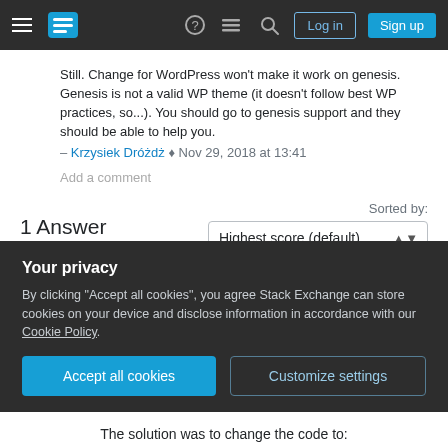Stack Exchange navigation bar with hamburger menu, logo, icons, Log in and Sign up buttons
Still. Change for WordPress won't make it work on genesis. Genesis is not a valid WP theme (it doesn't follow best WP practices, so...). You should go to genesis support and they should be able to help you.
– Krzysiek Dróżdż ♦ Nov 29, 2018 at 13:41
Add a comment
1 Answer
Sorted by: Highest score (default)
I managed to work out the issue, so wanted to share
Your privacy
By clicking "Accept all cookies", you agree Stack Exchange can store cookies on your device and disclose information in accordance with our Cookie Policy.
Accept all cookies
Customize settings
The solution was to change the code to: